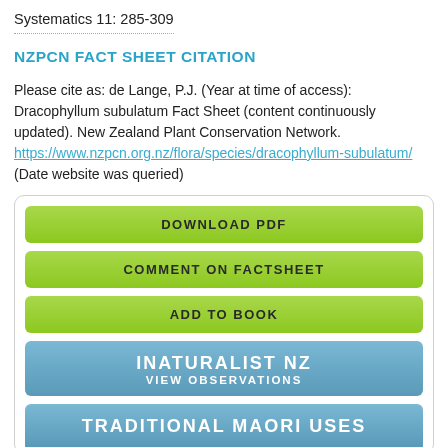Systematics 11: 285-309
NZPCN FACT SHEET CITATION
Please cite as: de Lange, P.J. (Year at time of access): Dracophyllum subulatum Fact Sheet (content continuously updated). New Zealand Plant Conservation Network. https://www.nzpcn.org.nz/flora/species/dracophyllum-subulatum/ (Date website was queried)
DOWNLOAD PDF
COMMENT ON FACTSHEET
ADD TO BOOK
INATURALIST NZ VIEW OBSERVATIONS
TRADITIONAL MAORI USES